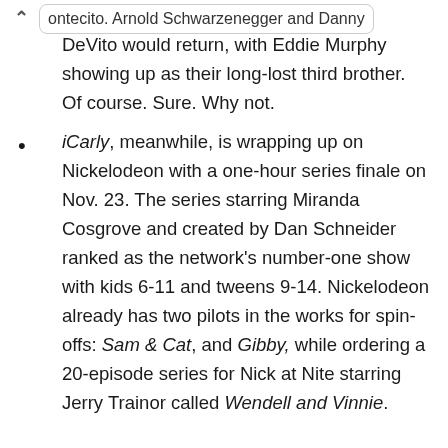ontecito. Arnold Schwarzenegger and Danny DeVito would return, with Eddie Murphy showing up as their long-lost third brother. Of course. Sure. Why not.
iCarly, meanwhile, is wrapping up on Nickelodeon with a one-hour series finale on Nov. 23. The series starring Miranda Cosgrove and created by Dan Schneider ranked as the network's number-one show with kids 6-11 and tweens 9-14. Nickelodeon already has two pilots in the works for spin-offs: Sam & Cat, and Gibby, while ordering a 20-episode series for Nick at Nite starring Jerry Trainor called Wendell and Vinnie.